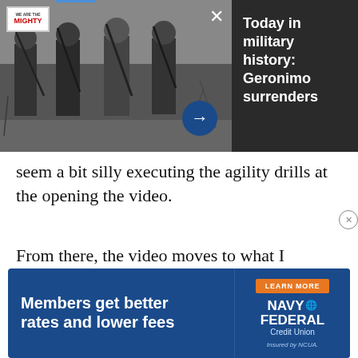[Figure (photo): Black and white historical photo of four armed Native American men standing outdoors, likely Geronimo and companions. A 'We Are The Mighty' logo appears in the top left corner. A close (X) button and a right-arrow navigation button are overlaid on the image.]
Today in military history: Geronimo surrenders
seem a bit silly executing the agility drills at the opening the video.
From there, the video moves to what I expected to see: a young man with a black belt serving as Putin's training
du
all
an
Ka
[Figure (other): Advertisement banner for Navy Federal Credit Union with dark blue background. Left side shows bold white text 'Members get better rates and lower fees'. Right side shows an orange 'LEARN MORE' button, the Navy Federal Credit Union logo in white, and 'Insured by NCUA.' text in small italic.]